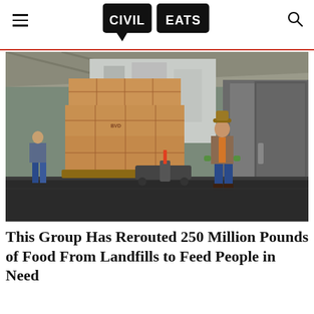CIVIL EATS
[Figure (photo): Warehouse worker in orange safety vest and cowboy hat operating a motorized pallet jack loaded with stacked brown cardboard boxes, another worker walking in the background of an industrial loading dock]
This Group Has Rerouted 250 Million Pounds of Food From Landfills to Feed People in Need